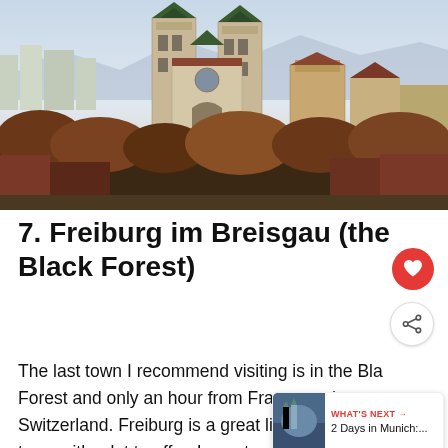[Figure (photo): Aerial/elevated view of Freiburg im Breisgau cityscape featuring a large Gothic church with two green-tipped spires and red tile roofs, surrounded by trees in autumn colors, with modern city buildings and mountains in the background under a wide sky.]
7. Freiburg im Breisgau (the Black Forest)
The last town I recommend visiting is in the Bla Forest and only an hour from France and Switzerland. Freiburg is a great little un. town with a lot to offer. I spent a semester teaching
WHAT'S NEXT → 2 Days in Munich:...